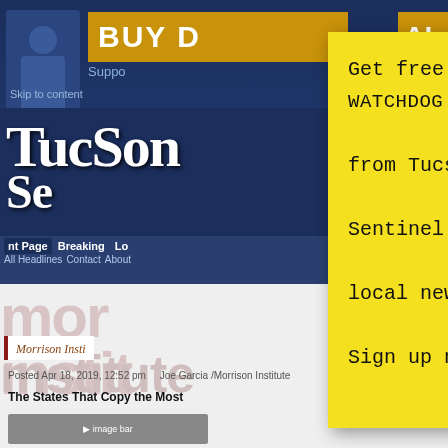[Figure (screenshot): Tucson Sentinel website screenshot showing dark navy header with 'BUY' text in yellow banner, Tucson Sentinel logo, navigation bar with Breaking, Contact, About links, and Morrison Institute article area below]
[Figure (other): Yellow sticky note popup overlay with handwritten-style text reading: Get free WATCHDOG UPDATES from Tucson Sentinel's local newsroom! Sign up now »  with X close button in top right corner]